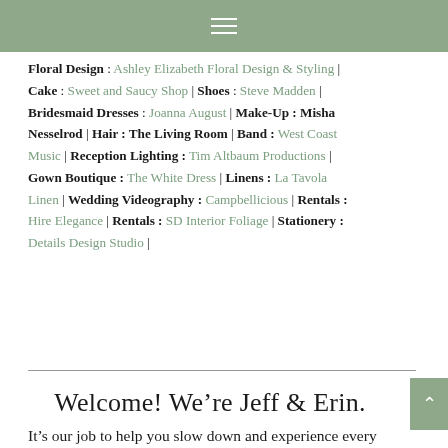Navigation bar with hamburger menu
Floral Design : Ashley Elizabeth Floral Design & Styling | Cake : Sweet and Saucy Shop | Shoes : Steve Madden | Bridesmaid Dresses : Joanna August | Make-Up : Misha Nesselrod | Hair : The Living Room | Band : West Coast Music | Reception Lighting : Tim Altbaum Productions | Gown Boutique : The White Dress | Linens : La Tavola Linen | Wedding Videography : Campbellicious | Rentals : Hire Elegance | Rentals : SD Interior Foliage | Stationery : Details Design Studio |
Welcome! We’re Jeff & Erin.
It’s our job to help you slow down and experience every moment of your wedding day – because we believe that it